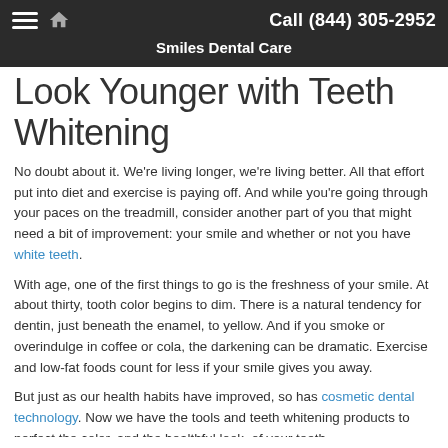Call (844) 305-2952 | Smiles Dental Care
Look Younger with Teeth Whitening
No doubt about it. We're living longer, we're living better. All that effort put into diet and exercise is paying off. And while you're going through your paces on the treadmill, consider another part of you that might need a bit of improvement: your smile and whether or not you have white teeth.
With age, one of the first things to go is the freshness of your smile. At about thirty, tooth color begins to dim. There is a natural tendency for dentin, just beneath the enamel, to yellow. And if you smoke or overindulge in coffee or cola, the darkening can be dramatic. Exercise and low-fat foods count for less if your smile gives you away.
But just as our health habits have improved, so has cosmetic dental technology. Now we have the tools and teeth whitening products to perfect the color, and the healthful look, of your teeth.